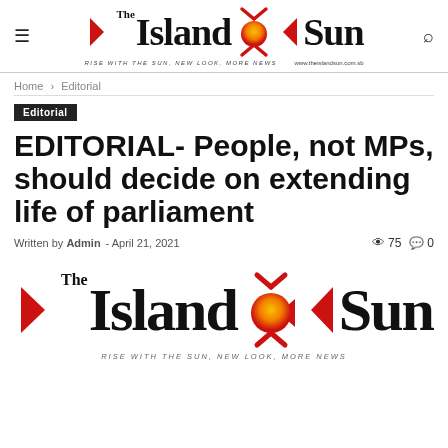[Figure (logo): The Island Sun newspaper logo with red arrow/sun symbol, tagline 'RISE WITH THE SUN, NEW LOOK, MORE NEWS' and url 'www.theislandsun.com.sb']
Home › Editorial
Editorial
EDITORIAL- People, not MPs, should decide on extending life of parliament
Written by Admin - April 21, 2021  👁 75  💬 0
[Figure (logo): The Island Sun newspaper logo large version with red arrow/sun symbol and tagline]